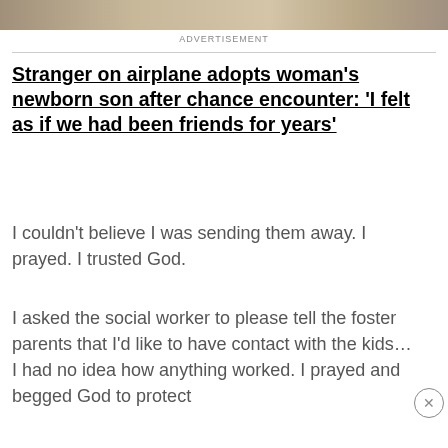[Figure (photo): Top strip of a photo showing an outdoor scene, partially visible]
ADVERTISEMENT
Stranger on airplane adopts woman's newborn son after chance encounter: 'I felt as if we had been friends for years'
I couldn't believe I was sending them away. I prayed. I trusted God.
I asked the social worker to please tell the foster parents that I'd like to have contact with the kids… I had no idea how anything worked. I prayed and begged God to protect